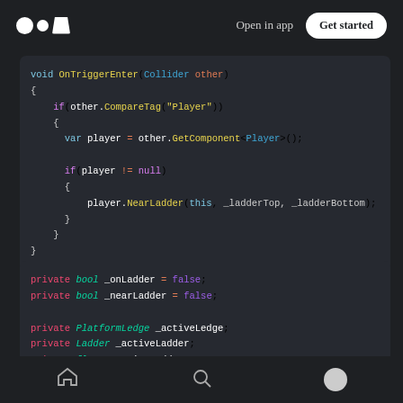Open in app  Get started
[Figure (screenshot): Code snippet showing void OnTriggerEnter(Collider other) method with if statements checking CompareTag Player and player != null, calling player.NearLadder]
[Figure (screenshot): Code snippet showing private bool _onLadder = false; private bool _nearLadder = false; private PlatformLedge _activeLedge; private Ladder _activeLadder; private float _activeLadderTop;]
Navigation bar with home, search, and profile icons